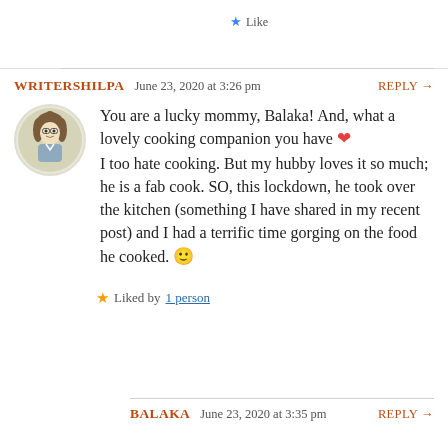Like
WRITERSHILPA  June 23, 2020 at 3:26 pm  REPLY →
You are a lucky mommy, Balaka! And, what a lovely cooking companion you have ❤ I too hate cooking. But my hubby loves it so much; he is a fab cook. SO, this lockdown, he took over the kitchen (something I have shared in my recent post) and I had a terrific time gorging on the food he cooked. 🙂
Liked by 1 person
BALAKA  June 23, 2020 at 3:35 pm  REPLY →